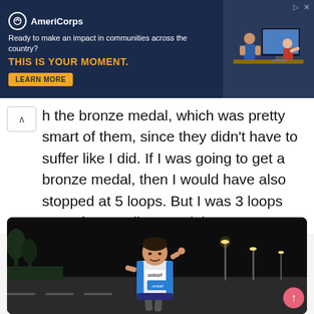[Figure (screenshot): AmeriCorps advertisement banner with dark navy background. Logo with circle icon and 'AmeriCorps' text. Tagline: 'Ready to make an impact in communities across the country?' Headline: 'THIS IS YOUR MOMENT.' with a 'LEARN MORE' button. Right side shows photo of people at a computer.]
h the bronze medal, which was pretty smart of them, since they didn't have to suffer like I did. If I was going to get a bronze medal, then I would have also stopped at 5 loops. But I was 3 loops away from a silver medal.
[Figure (photo): Nighttime photo of a woman runner wearing a UNICEF athletic vest (white and blue), pointing to her head with one finger and smiling. She is on a road with street lights and trees visible in the background.]